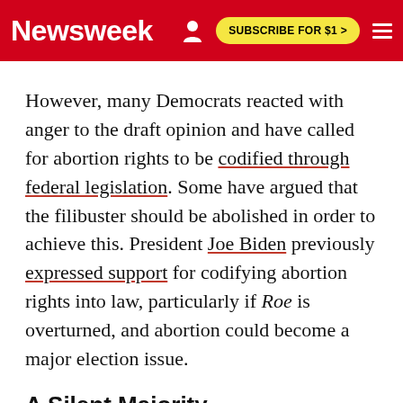Newsweek  SUBSCRIBE FOR $1 >
However, many Democrats reacted with anger to the draft opinion and have called for abortion rights to be codified through federal legislation. Some have argued that the filibuster should be abolished in order to achieve this. President Joe Biden previously expressed support for codifying abortion rights into law, particularly if Roe is overturned, and abortion could become a major election issue.
A Silent Majority